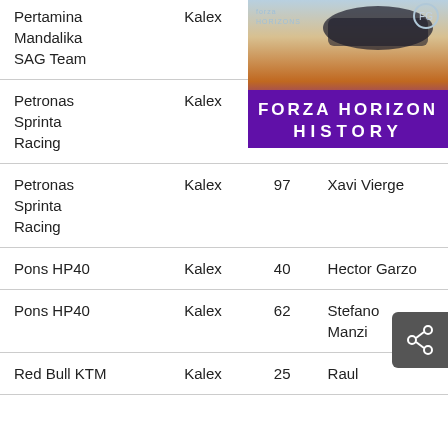| Team | Bike | No. | Rider |
| --- | --- | --- | --- |
| Pertamina Mandalika SAG Team | Kalex | 6 |  |
| Petronas Sprinta Racing | Kalex | 96 | Jake Dixon |
| Petronas Sprinta Racing | Kalex | 97 | Xavi Vierge |
| Pons HP40 | Kalex | 40 | Hector Garzo |
| Pons HP40 | Kalex | 62 | Stefano Manzi |
| Red Bull KTM | Kalex | 25 | Raul |
[Figure (screenshot): Forza Horizon History advertisement banner with purple gradient background showing a car and the text FORZA HORIZON HISTORY]